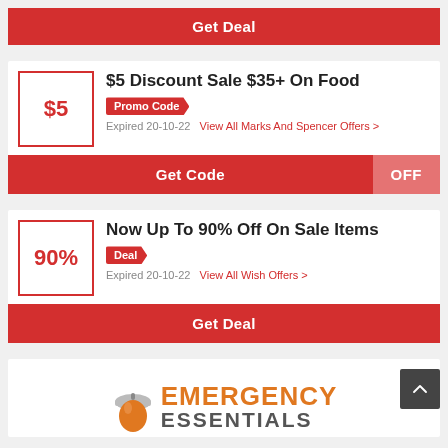Get Deal
$5 Discount Sale $35+ On Food
Promo Code
Expired 20-10-22   View All Marks And Spencer Offers >
Get Code   OFF
Now Up To 90% Off On Sale Items
Deal
Expired 20-10-22   View All Wish Offers >
Get Deal
[Figure (logo): Emergency Essentials logo with acorn icon, orange EMERGENCY text and grey ESSENTIALS text]